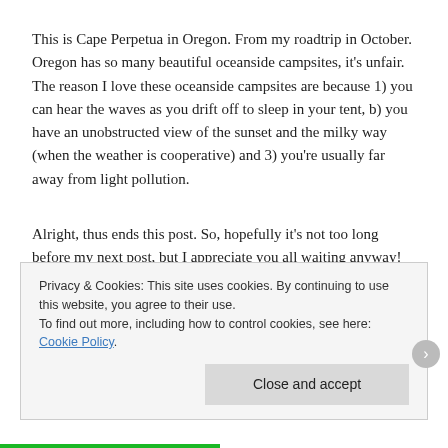This is Cape Perpetua in Oregon. From my roadtrip in October. Oregon has so many beautiful oceanside campsites, it's unfair. The reason I love these oceanside campsites are because 1) you can hear the waves as you drift off to sleep in your tent, b) you have an unobstructed view of the sunset and the milky way (when the weather is cooperative) and 3) you're usually far away from light pollution.
Alright, thus ends this post. So, hopefully it's not too long before my next post, but I appreciate you all waiting anyway!
Posted in Landscape, Night, Photography, Travel | Tagged landscape, long exposure, milky way, night photos, Nikon,
Privacy & Cookies: This site uses cookies. By continuing to use this website, you agree to their use.
To find out more, including how to control cookies, see here: Cookie Policy